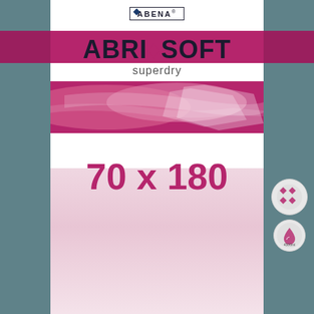[Figure (photo): Abena Abri-Soft Superdry disposable bed pad product packaging. White and teal package with magenta/pink branding. Shows the product name 'ABRI-SOFT superdry' and size '70 x 180'. Features an ABENA logo at top, a magenta horizontal band, a photo showing the pads, and icons on the right side. The background panels left and right are teal/grey-blue.]